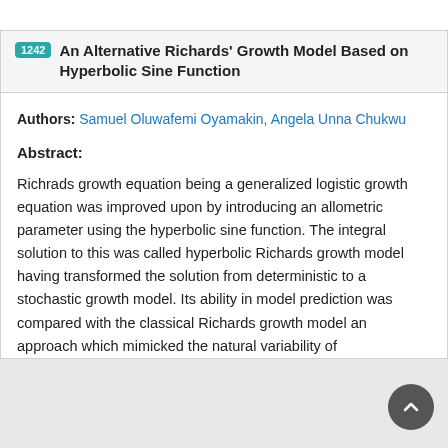1242 An Alternative Richards' Growth Model Based on Hyperbolic Sine Function
Authors: Samuel Oluwafemi Oyamakin, Angela Unna Chukwu
Abstract:
Richrads growth equation being a generalized logistic growth equation was improved upon by introducing an allometric parameter using the hyperbolic sine function. The integral solution to this was called hyperbolic Richards growth model having transformed the solution from deterministic to a stochastic growth model. Its ability in model prediction was compared with the classical Richards growth model an approach which mimicked the natural variability of